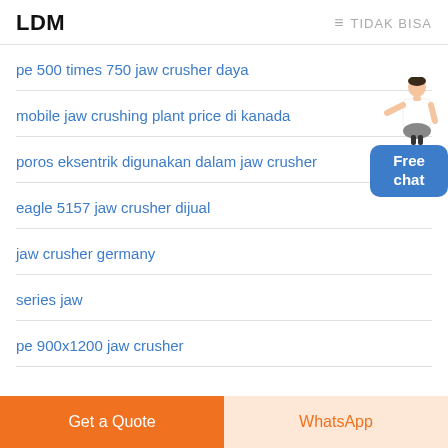LDM  ≡ TIDAK BISA
pe 500 times 750 jaw crusher daya
mobile jaw crushing plant price di kanada
poros eksentrik digunakan dalam jaw crusher
eagle 5157 jaw crusher dijual
jaw crusher germany
series jaw
pe 900x1200 jaw crusher
[Figure (illustration): Customer service person figure next to Free chat button]
Get a Quote  |  WhatsApp